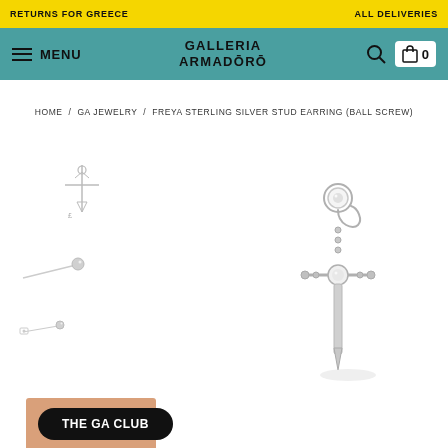RETURNS FOR GREECE / ALL DELIVERIES
GALLERIA ARMADORO — MENU — 0
HOME / GA JEWELRY / FREYA STERLING SILVER STUD EARRING (BALL SCREW)
[Figure (photo): Thumbnail images of a sterling silver stud earring with ball screw back, and a sword/dagger shaped stud earring in sterling silver with crystal embellishments. Main product image shows a dagger-style earring. A 'THE GA CLUB' black pill button is visible at the bottom left.]